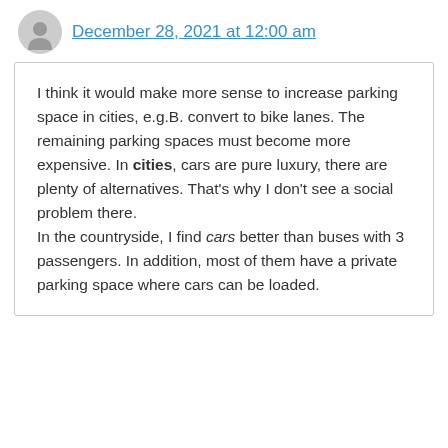December 28, 2021 at 12:00 am
I think it would make more sense to increase parking space in cities, e.g.B. convert to bike lanes. The remaining parking spaces must become more expensive. In cities, cars are pure luxury, there are plenty of alternatives. That's why I don't see a social problem there.
In the countryside, I find cars better than buses with 3 passengers. In addition, most of them have a private parking space where cars can be loaded.